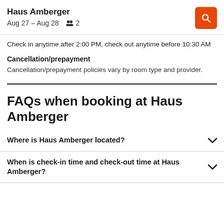Haus Amberger
Aug 27 – Aug 28  2
Check in anytime after 2:00 PM, check out anytime before 10:30 AM
Cancellation/prepayment
Cancellation/prepayment policies vary by room type and provider.
FAQs when booking at Haus Amberger
Where is Haus Amberger located?
When is check-in time and check-out time at Haus Amberger?